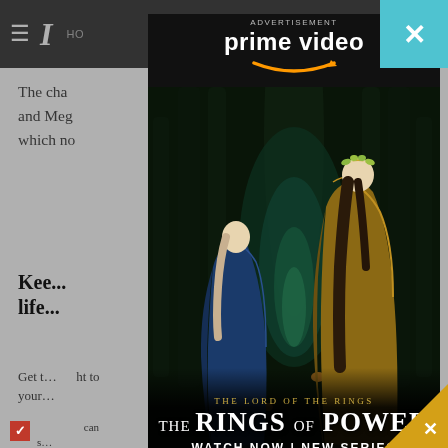HO
The cha... Harry and Meg... gram, which no... counts.
Kee... life...
Get t... ht to your...
[Figure (screenshot): Amazon Prime Video advertisement overlay for 'The Lord of the Rings: The Rings of Power'. Shows Prime Video logo at top, two robed fantasy figures standing in a glowing forest tunnel, with text 'THE LORD OF THE RINGS THE RINGS OF POWER WATCH NOW | NEW SERIES' at the bottom. A close button (X) appears in the top-right corner in teal/blue.]